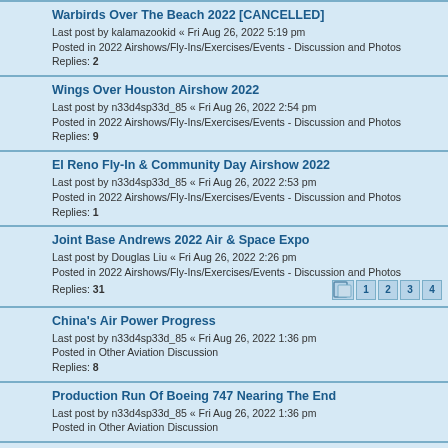Warbirds Over The Beach 2022 [CANCELLED] — Last post by kalamazookid « Fri Aug 26, 2022 5:19 pm — Posted in 2022 Airshows/Fly-Ins/Exercises/Events - Discussion and Photos — Replies: 2
Wings Over Houston Airshow 2022 — Last post by n33d4sp33d_85 « Fri Aug 26, 2022 2:54 pm — Posted in 2022 Airshows/Fly-Ins/Exercises/Events - Discussion and Photos — Replies: 9
El Reno Fly-In & Community Day Airshow 2022 — Last post by n33d4sp33d_85 « Fri Aug 26, 2022 2:53 pm — Posted in 2022 Airshows/Fly-Ins/Exercises/Events - Discussion and Photos — Replies: 1
Joint Base Andrews 2022 Air & Space Expo — Last post by Douglas Liu « Fri Aug 26, 2022 2:26 pm — Posted in 2022 Airshows/Fly-Ins/Exercises/Events - Discussion and Photos — Replies: 31 — Pages: 1 2 3 4
China's Air Power Progress — Last post by n33d4sp33d_85 « Fri Aug 26, 2022 1:36 pm — Posted in Other Aviation Discussion — Replies: 8
Production Run Of Boeing 747 Nearing The End — Last post by n33d4sp33d_85 « Fri Aug 26, 2022 1:36 pm — Posted in Other Aviation Discussion
Russia To Develop Naval Variant Of Sukhoi Su-57 Stealth Fighter — Last post by n33d4sp33d_85 « Fri Aug 26, 2022 1:29 pm — Posted in Other Aviation Discussion
Warbird News